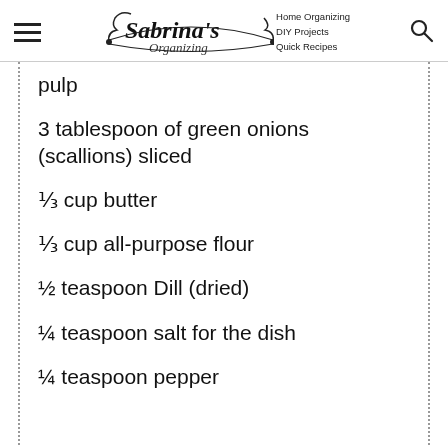Sabrina's Organizing | Home Organizing DIY Projects Quick Recipes
pulp
3 tablespoon of green onions (scallions) sliced
⅓ cup butter
⅓ cup all-purpose flour
½ teaspoon Dill (dried)
¼ teaspoon salt for the dish
¼ teaspoon pepper